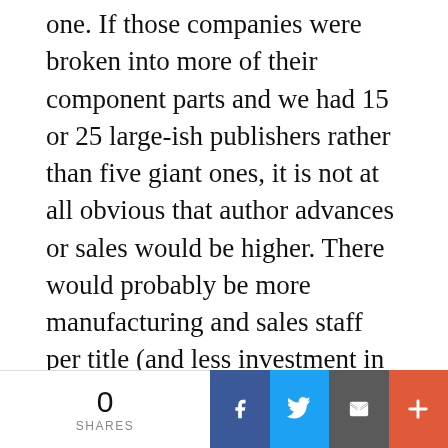one. If those companies were broken into more of their component parts and we had 15 or 25 large-ish publishers rather than five giant ones, it is not at all obvious that author advances or sales would be higher. There would probably be more manufacturing and sales staff per title (and less investment in tech to support either) than there is now, but those salaries would be subtractions from the company's margins, and would therefore likely increase book prices. That's not going to produce more value for either authors or readers. So I actually think author advances — which one must always remember is the
0 SHARES | Facebook | Twitter | Email | +